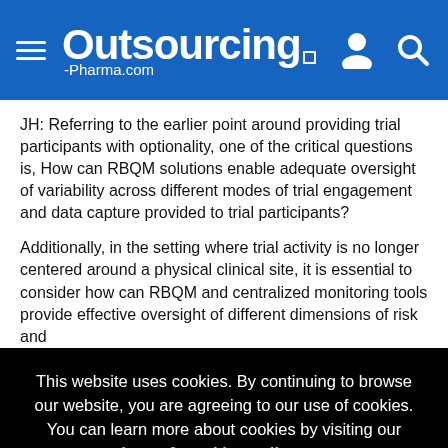Outsourcing-Pharma.com
JH: Referring to the earlier point around providing trial participants with optionality, one of the critical questions is, How can RBQM solutions enable adequate oversight of variability across different modes of trial engagement and data capture provided to trial participants?
Additionally, in the setting where trial activity is no longer centered around a physical clinical site, it is essential to consider how can RBQM and centralized monitoring tools provide effective oversight of different dimensions of risk and
This website uses cookies. By continuing to browse our website, you are agreeing to our use of cookies. You can learn more about cookies by visiting our privacy & cookies policy page.
I Agree